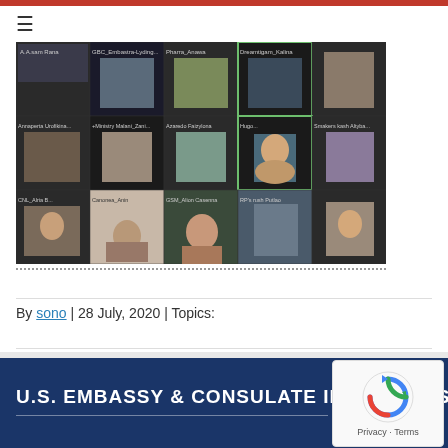[Figure (screenshot): Zoom video call screenshot showing a grid of participants in multiple rows, with name labels on each tile. Appears to be an online meeting or virtual event.]
By sono | 28 July, 2020 | Topics:
U.S. EMBASSY & CONSULATE IN KAZAKHSTAN